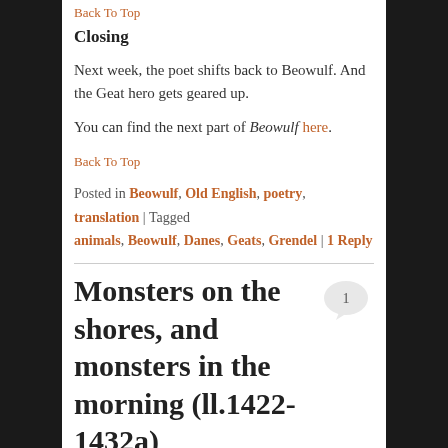Back To Top
Closing
Next week, the poet shifts back to Beowulf. And the Geat hero gets geared up.
You can find the next part of Beowulf here.
Back To Top
Posted in Beowulf, Old English, poetry, translation | Tagged animals, Beowulf, Danes, Geats, Grendel | 1 Reply
Monsters on the shores, and monsters in the morning (ll.1422-1432a)
Posted on 2016/06/23
Synopsis